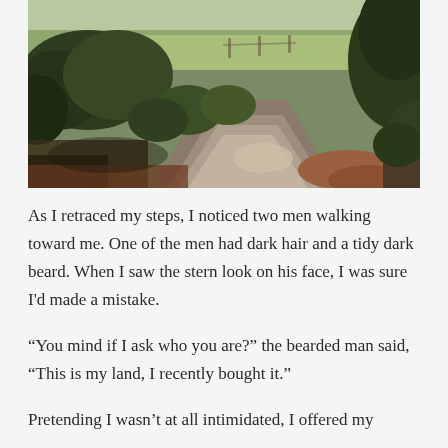[Figure (photo): Outdoor rural scene showing a gravel/dirt path winding through overgrown vegetation and brush, with trees including a large pine on the right, and an open grassy field visible in the background under afternoon light.]
As I retraced my steps, I noticed two men walking toward me. One of the men had dark hair and a tidy dark beard. When I saw the stern look on his face, I was sure I'd made a mistake.
“You mind if I ask who you are?” the bearded man said, “This is my land, I recently bought it.”
Pretending I wasn’t at all intimidated, I offered my